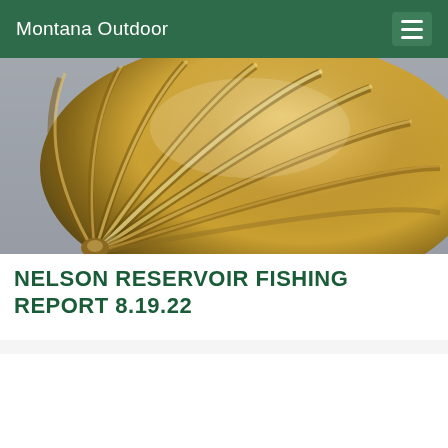Montana Outdoor
[Figure (photo): Close-up photograph of a golden/bronze metallic scallop shell with radiating ridged flutes, warm golden tones with bokeh background.]
NELSON RESERVOIR FISHING REPORT 8.19.22
[Figure (screenshot): Bretz RV advertisement banner: orange left panel with Bretz logo and vehicle image, yellow center panel with 'SAVE UP TO $51,286', orange right panel with 'SAVE']
[Figure (screenshot): Decker Truck Line, Inc. advertisement: left panel with trucks on sunset background and text 'DECKER TRUCK LINE, INC. DRIVEN TO BE THE BEST', right dark panel with 'DRIVERS WANTED $5,000 SIGN ON BONUS CLICK HERE']